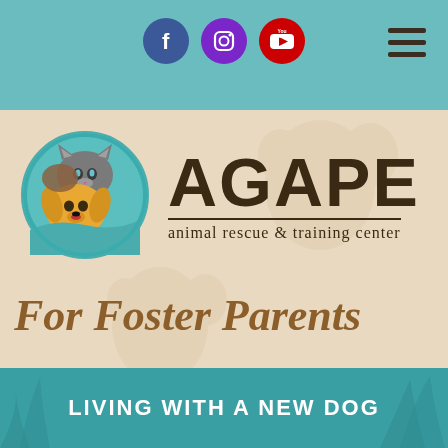[Figure (screenshot): Agape Animal Rescue & Training Center website screenshot showing navigation bar with social media icons (Facebook, Instagram, YouTube), hamburger menu, organization logo with circular animal illustration and AGAPE text, For Foster Parents heading, and Living With A New Dog teal banner.]
For Foster Parents
LIVING WITH A NEW DOG